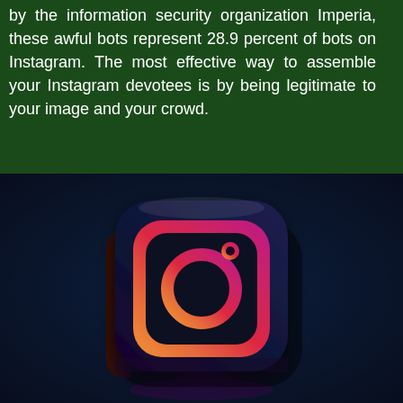by the information security organization Imperia, these awful bots represent 28.9 percent of bots on Instagram. The most effective way to assemble your Instagram devotees is by being legitimate to your image and your crowd.
[Figure (photo): 3D rendered Instagram logo icon — a dark rounded square with a pink-to-orange gradient Instagram camera icon, featuring the circular lens and viewfinder dot, set against a dark navy blue background with a subtle purple reflection beneath.]